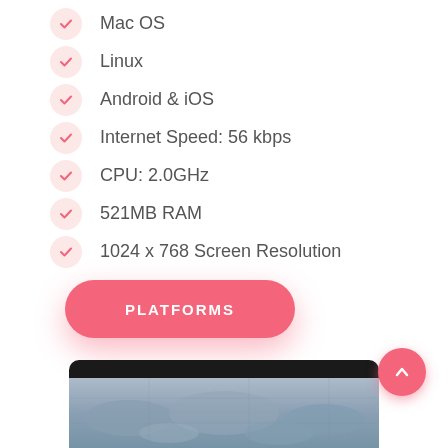Mac OS
Linux
Android & iOS
Internet Speed: 56 kbps
CPU: 2.0GHz
521MB RAM
1024 x 768 Screen Resolution
PLATFORMS
[Figure (screenshot): Bottom portion showing a laptop screen with a map/data visualization in blue tones, and a coral/pink floating action button with an upward arrow in the bottom right corner.]